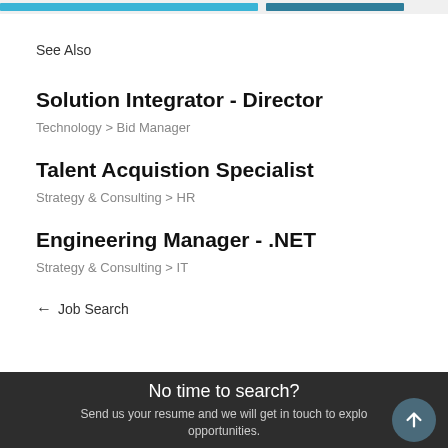See Also
Solution Integrator - Director
Technology > Bid Manager
Talent Acquistion Specialist
Strategy & Consulting > HR
Engineering Manager - .NET
Strategy & Consulting > IT
← Job Search
No time to search?
Send us your resume and we will get in touch to explore opportunities.